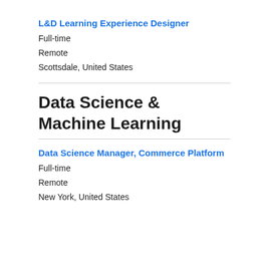L&D Learning Experience Designer
Full-time
Remote
Scottsdale, United States
Data Science & Machine Learning
Data Science Manager, Commerce Platform
Full-time
Remote
New York, United States